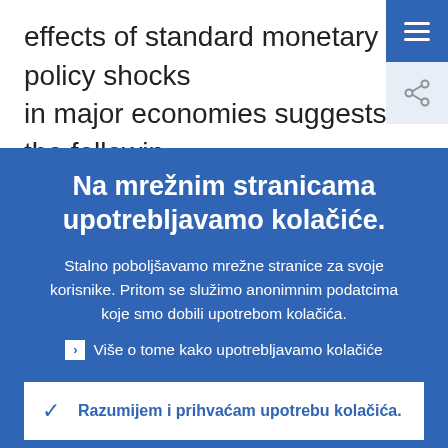effects of standard monetary policy shocks in major economies suggests the following A monetary easing, say in the US, while depreciating the dollar is associated with
Na mrežnim stranicama upotrebljavamo kolačiće.
Stalno poboljšavamo mrežne stranice za svoje korisnike. Pritom se služimo anonimnim podatcima koje smo dobili upotrebom kolačića.
Više o tome kako upotrebljavamo kolačiće
Razumijem i prihvaćam upotrebu kolačića.
Ne prihvaćam upotrebu kolačića.